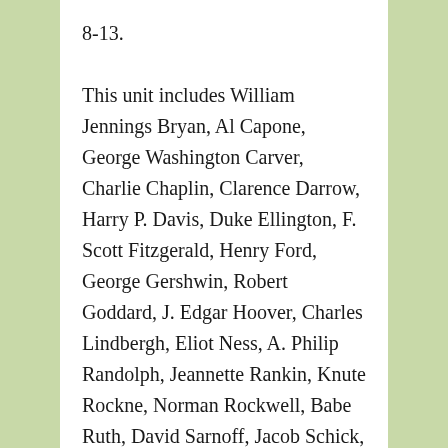8-13.

This unit includes William Jennings Bryan, Al Capone, George Washington Carver, Charlie Chaplin, Clarence Darrow, Harry P. Davis, Duke Ellington, F. Scott Fitzgerald, Henry Ford, George Gershwin, Robert Goddard, J. Edgar Hoover, Charles Lindbergh, Eliot Ness, A. Philip Randolph, Jeannette Rankin, Knute Rockne, Norman Rockwell, Babe Ruth, David Sarnoff, Jacob Schick, Alfred Smith, Bessie Smith, Frank Lloyd Wright, Woodrow Wilson, Warren G. Harding, Calvin Coolidge, and Herbert